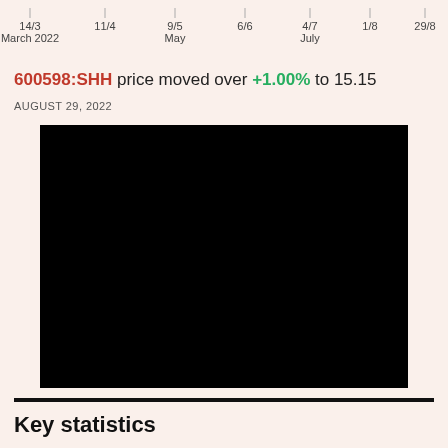[Figure (continuous-plot): Stock price line chart x-axis showing date labels: 14/3, 11/4, 9/5, 6/6, 4/7, 1/8, 29/8 with month labels March 2022, May, July]
600598:SHH price moved over +1.00% to 15.15
AUGUST 29, 2022
[Figure (other): Large black rectangle — redacted or unloaded chart image area]
Key statistics